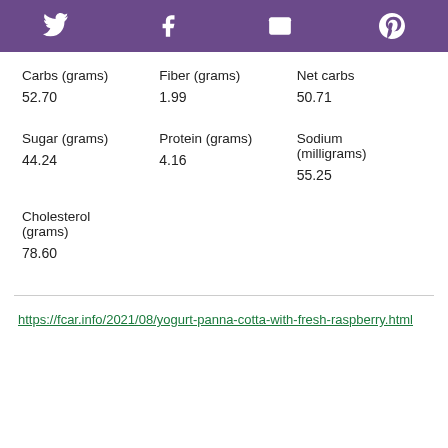Social icons: Twitter, Facebook, Email, Pinterest
| Carbs (grams) | Fiber (grams) | Net carbs |
| --- | --- | --- |
| 52.70 | 1.99 | 50.71 |
| Sugar (grams) | Protein (grams) | Sodium (milligrams) |
| --- | --- | --- |
| 44.24 | 4.16 | 55.25 |
| Cholesterol (grams) |  |  |
| --- | --- | --- |
| 78.60 |  |  |
https://fcar.info/2021/08/yogurt-panna-cotta-with-fresh-raspberry.html